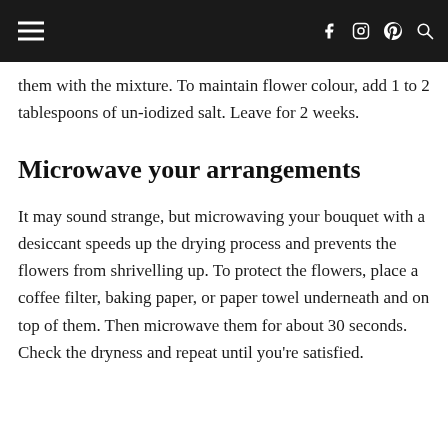[navigation bar with hamburger menu and social icons: f, camera, pinterest, search]
them with the mixture. To maintain flower colour, add 1 to 2 tablespoons of un-iodized salt. Leave for 2 weeks.
Microwave your arrangements
It may sound strange, but microwaving your bouquet with a desiccant speeds up the drying process and prevents the flowers from shrivelling up. To protect the flowers, place a coffee filter, baking paper, or paper towel underneath and on top of them. Then microwave them for about 30 seconds. Check the dryness and repeat until you're satisfied.